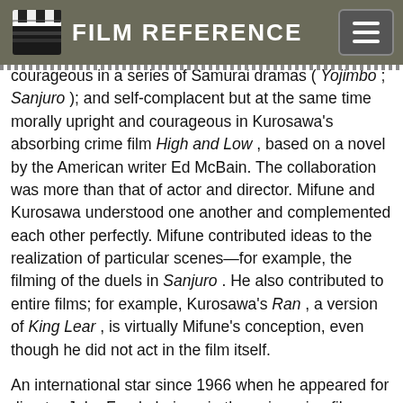FILM REFERENCE
courageous in a series of Samurai dramas ( Yojimbo ; Sanjuro ); and self-complacent but at the same time morally upright and courageous in Kurosawa's absorbing crime film High and Low , based on a novel by the American writer Ed McBain. The collaboration was more than that of actor and director. Mifune and Kurosawa understood one another and complemented each other perfectly. Mifune contributed ideas to the realization of particular scenes—for example, the filming of the duels in Sanjuro . He also contributed to entire films; for example, Kurosawa's Ran , a version of King Lear , is virtually Mifune's conception, even though he did not act in the film itself.
An international star since 1966 when he appeared for director John Frankeheimer in the epic racing film Grand Prix , Mifune has acted in numerous films outside his native Japan. They include John Boorman's World War II epic Hell in the Pacific , opposite Lee Marvin; the Euro-Western Red Sun opposite Charles Bronson; the Kennedy conspiracy thriller